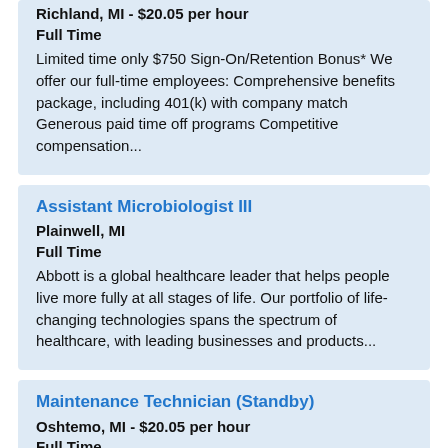Richland, MI - $20.05 per hour
Full Time
Limited time only $750 Sign-On/Retention Bonus* We offer our full-time employees: Comprehensive benefits package, including 401(k) with company match Generous paid time off programs Competitive compensation...
Assistant Microbiologist III
Plainwell, MI
Full Time
Abbott is a global healthcare leader that helps people live more fully at all stages of life. Our portfolio of life-changing technologies spans the spectrum of healthcare, with leading businesses and products...
Maintenance Technician (Standby)
Oshtemo, MI - $20.05 per hour
Full Time
Limited time only $750 Sign-On/Retention Bonus* We offer our full-time employees: Comprehensive benefits package, including 401(k) with company match Generous paid time off